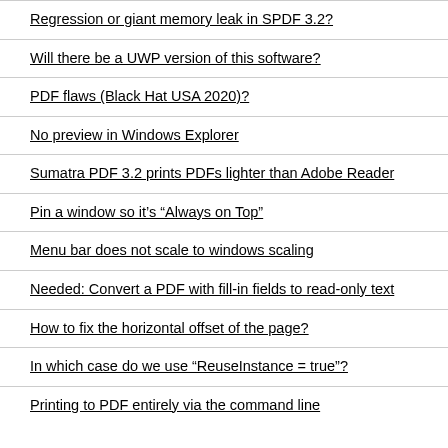Regression or giant memory leak in SPDF 3.2?
Will there be a UWP version of this software?
PDF flaws (Black Hat USA 2020)?
No preview in Windows Explorer
Sumatra PDF 3.2 prints PDFs lighter than Adobe Reader
Pin a window so it's “Always on Top”
Menu bar does not scale to windows scaling
Needed: Convert a PDF with fill-in fields to read-only text
How to fix the horizontal offset of the page?
In which case do we use “ReuseInstance = true”?
Printing to PDF entirely via the command line